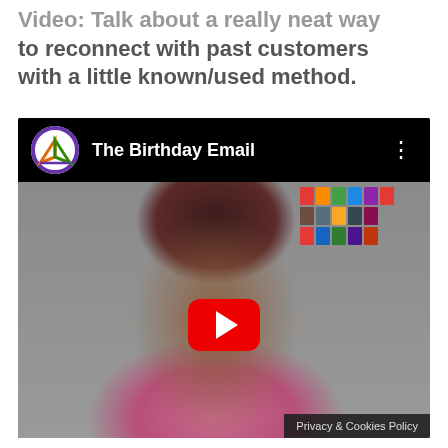Video: Talk about a really neat way to reconnect with past customers with a little known/used method.
[Figure (screenshot): Embedded YouTube video thumbnail showing a woman with glasses and a pink floral scarf, with a YouTube play button overlay. The video title bar shows 'The Birthday Email' with a logo. A 'Privacy & Cookies Policy' overlay appears at the bottom right.]